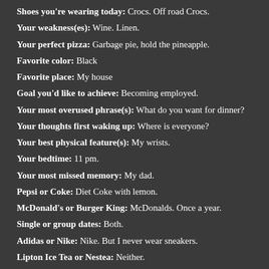Shoes you're wearing today: Crocs. Off road Crocs.
Your weakness(es): Wine. Linen.
Your perfect pizza: Garbage pie, hold the pineapple.
Favorite color: Black
Favorite place: My house
Goal you'd like to achieve: Becoming employed.
Your most overused phrase(s): What do you want for dinner?
Your thoughts first waking up: Where is everyone?
Your best physical feature(s): My wrists.
Your bedtime: 11 pm.
Your most missed memory: My dad.
Pepsi or Coke: Diet Coke with lemon.
McDonald's or Burger King: McDonalds. Once a year.
Single or group dates: Both.
Adidas or Nike: Nike. But I never wear sneakers.
Lipton Ice Tea or Nestea: Neither.
Chocolate or vanilla: Chocolate.
Cappuccino or coffee: Grande decaf vanilla latte.